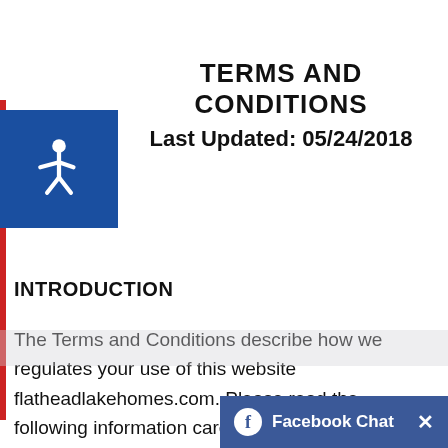TERMS AND CONDITIONS
Last Updated: 05/24/2018
[Figure (logo): Blue accessibility wheelchair icon on blue square background]
INTRODUCTION
The Terms and Conditions describe how we regulates your use of this website flatheadlakehomes.com. Please read the following information carefully to understand our practices regarding your use of the Site. The Company may change the Terms at any time. The Company may inform you of the changes to the Terms using the available means of
[Figure (screenshot): Facebook Chat bar at bottom right with white Facebook icon, bold text 'Facebook Chat' in white on blue background, and an X close button]